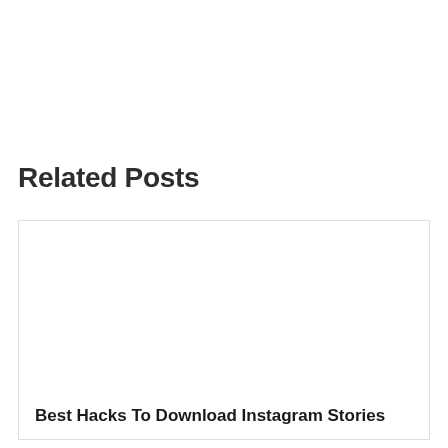Related Posts
[Figure (other): Card with white image placeholder area]
Best Hacks To Download Instagram Stories